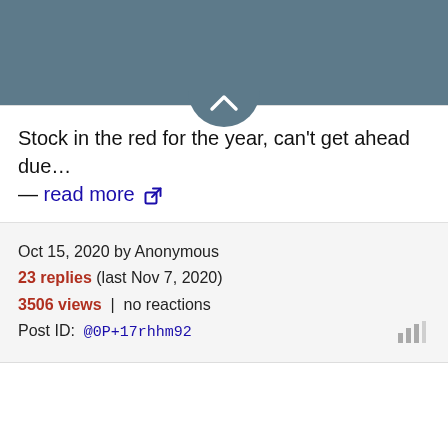[Figure (screenshot): Dark teal/slate header bar with a rounded chevron-up button at the bottom center]
Stock in the red for the year, can't get ahead due... — read more
Oct 15, 2020 by Anonymous
23 replies (last Nov 7, 2020)
3506 views | no reactions
Post ID: @0P+17rhhm92